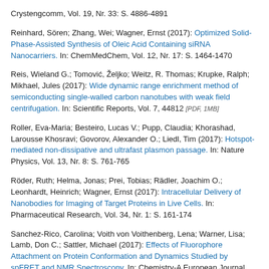Crystengcomm, Vol. 19, Nr. 33: S. 4886-4891
Reinhard, Sören; Zhang, Wei; Wagner, Ernst (2017): Optimized Solid-Phase-Assisted Synthesis of Oleic Acid Containing siRNA Nanocarriers. In: ChemMedChem, Vol. 12, Nr. 17: S. 1464-1470
Reis, Wieland G.; Tomović, Željko; Weitz, R. Thomas; Krupke, Ralph; Mikhael, Jules (2017): Wide dynamic range enrichment method of semiconducting single-walled carbon nanotubes with weak field centrifugation. In: Scientific Reports, Vol. 7, 44812 [PDF, 1MB]
Roller, Eva-Maria; Besteiro, Lucas V.; Pupp, Claudia; Khorashad, Larousse Khosravi; Govorov, Alexander O.; Liedl, Tim (2017): Hotspot-mediated non-dissipative and ultrafast plasmon passage. In: Nature Physics, Vol. 13, Nr. 8: S. 761-765
Röder, Ruth; Helma, Jonas; Prei, Tobias; Rädler, Joachim O.; Leonhardt, Heinrich; Wagner, Ernst (2017): Intracellular Delivery of Nanobodies for Imaging of Target Proteins in Live Cells. In: Pharmaceutical Research, Vol. 34, Nr. 1: S. 161-174
Sanchez-Rico, Carolina; Voith von Voithenberg, Lena; Warner, Lisa; Lamb, Don C.; Sattler, Michael (2017): Effects of Fluorophore Attachment on Protein Conformation and Dynamics Studied by spFRET and NMR Spectroscopy. In: Chemistry-A European Journal, Vol. 23, Nr. 57: S. 14267-14277
Santamaria, Camilo A. Aponte; Lippok, Svenja; Mittag, Judith J.; Obser, Tobias;